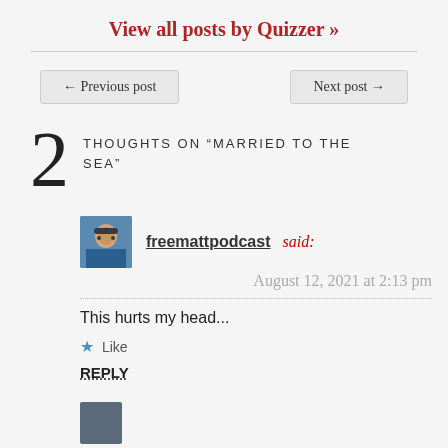View all posts by Quizzer >>
← Previous post
Next post →
2 THOUGHTS ON "MARRIED TO THE SEA"
freemattpodcast said:
August 12, 2021 at 2:13 pm
This hurts my head...
★ Like
REPLY